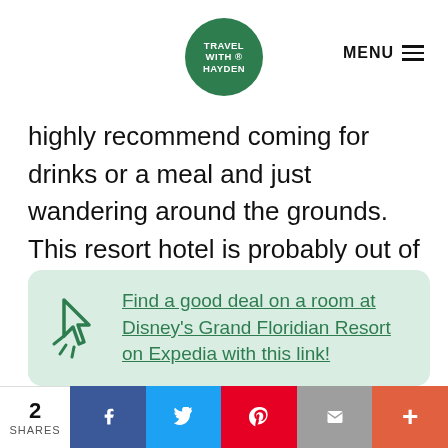TRAVEL WITH HAYDEN | MENU
highly recommend coming for drinks or a meal and just wandering around the grounds. This resort hotel is probably out of most people's price ranges but you can still enjoy the grounds. If you are looking for a romantic stay, this is probably the best Disney World Hotel for couples.
Find a good deal on a room at Disney's Grand Floridian Resort on Expedia with this link!
2 SHARES | Facebook | Twitter | Pinterest | Email | More